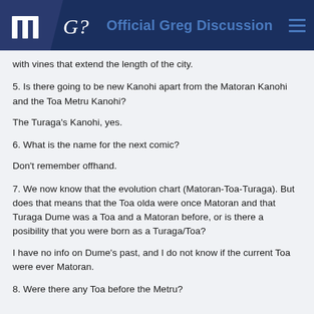Official Greg Discussion
with vines that extend the length of the city.
5. Is there going to be new Kanohi apart from the Matoran Kanohi and the Toa Metru Kanohi?
The Turaga's Kanohi, yes.
6. What is the name for the next comic?
Don't remember offhand.
7. We now know that the evolution chart (Matoran-Toa-Turaga). But does that means that the Toa olda were once Matoran and that Turaga Dume was a Toa and a Matoran before, or is there a posibility that you were born as a Turaga/Toa?
I have no info on Dume's past, and I do not know if the current Toa were ever Matoran.
8. Were there any Toa before the Metru?